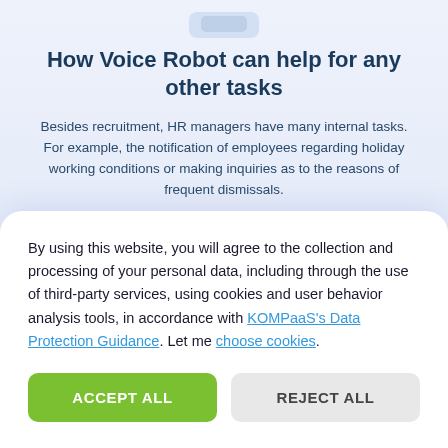[Figure (illustration): Partial illustration of a robot or device at the top of the page]
How Voice Robot can help for any other tasks
Besides recruitment, HR managers have many internal tasks. For example, the notification of employees regarding holiday working conditions or making inquiries as to the reasons of frequent dismissals.
All of these routine tasks can be delegated to Voice Robot in order to save the valuable time of HR managers and thus…
By using this website, you will agree to the collection and processing of your personal data, including through the use of third-party services, using cookies and user behavior analysis tools, in accordance with KOMPaaS's Data Protection Guidance. Let me choose cookies.